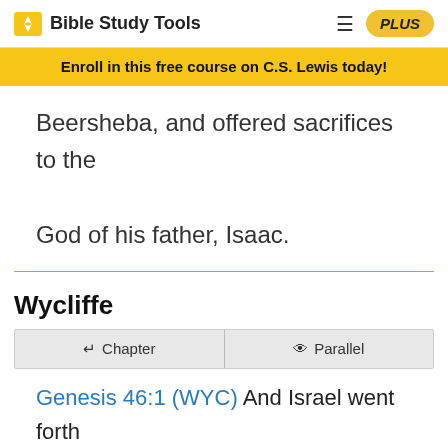Bible Study Tools | PLUS
Enroll in this free course on C.S. Lewis today!
Beersheba, and offered sacrifices to the God of his father, Isaac.
Wycliffe
Chapter | Parallel
Genesis 46:1 (WYC) And Israel went forth with all things that he had, and he came to the well of (the) oath (And Jacob went